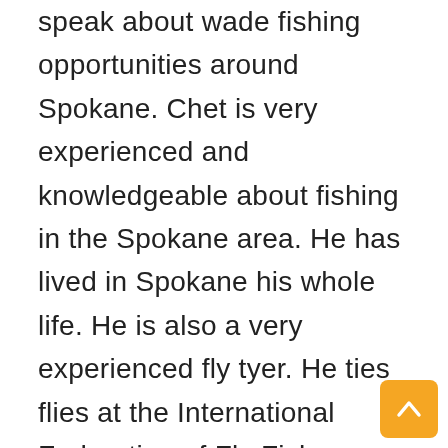speak about wade fishing opportunities around Spokane. Chet is very experienced and knowledgeable about fishing in the Spokane area. He has lived in Spokane his whole life. He is also a very experienced fly tyer. He ties flies at the International Federation of Fly Fishers regional shows. That tells me he is a very good tyer. Chet was also one of the founders of your club. He is one the most generous people in the club with sharing his considerable fishing knowledge. Zoom in to see Chet share how to make us all better anglers in our own backyard. You will not be